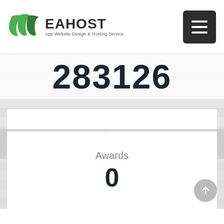[Figure (logo): WeaHost logo with green leaf icon and text 'App Website Design & Hosting Service']
283126
Clients
12195
Awards
0